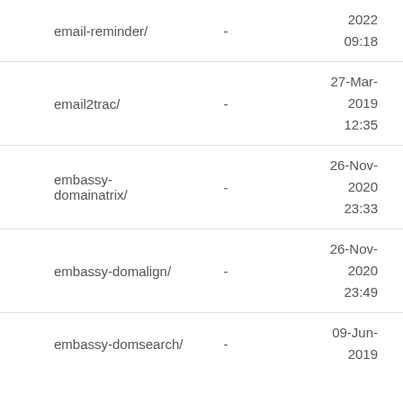| Name |  | Date |
| --- | --- | --- |
| email-reminder/ | - | 2022
09:18 |
| email2trac/ | - | 27-Mar-
2019
12:35 |
| embassy-domainatrix/ | - | 26-Nov-
2020
23:33 |
| embassy-domalign/ | - | 26-Nov-
2020
23:49 |
| embassy-domsearch/ | - | 09-Jun-
2019 |